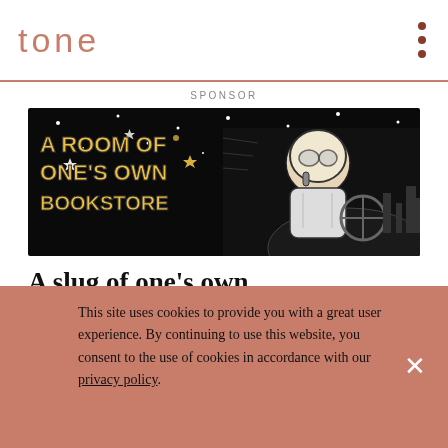tone
SPONSOR
[Figure (illustration): A Room of One's Own Bookstore advertisement banner. Black and white comic-style illustration of an astronaut/pilot in a cockpit with stars, with bold yellow text 'A ROOM OF ONE'S OWN BOOKSTORE' on the left side.]
A slug of one’s own
BY ANDREW HANSON • MICROTONES • JUNE 24, 2022
[Figure (infographic): Social sharing icons: Facebook, Twitter, LinkedIn, Reddit, WhatsApp, Email, Bookmark]
This site uses cookies to provide you with a great user experience. By continuing to use this website, you consent to the use of cookies in accordance with our privacy policy.